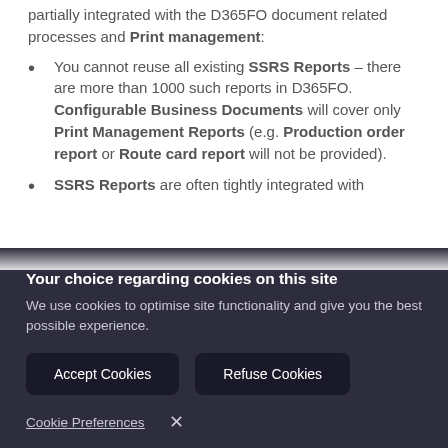partially integrated with the D365FO document related processes and Print management:
You cannot reuse all existing SSRS Reports – there are more than 1000 such reports in D365FO. Configurable Business Documents will cover only Print Management Reports (e.g. Production order report or Route card report will not be provided).
SSRS Reports are often tightly integrated with
Your choice regarding cookies on this site
We use cookies to optimise site functionality and give you the best possible experience.
Accept Cookies
Refuse Cookies
Cookie Preferences